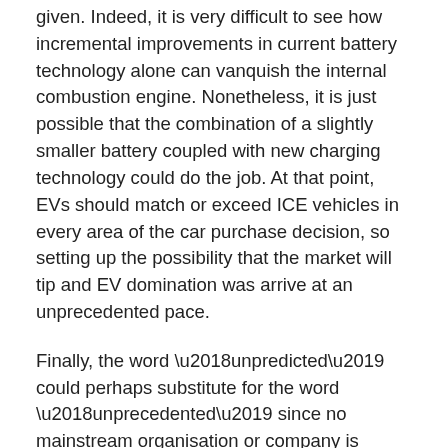given. Indeed, it is very difficult to see how incremental improvements in current battery technology alone can vanquish the internal combustion engine. Nonetheless, it is just possible that the combination of a slightly smaller battery coupled with new charging technology could do the job. At that point, EVs should match or exceed ICE vehicles in every area of the car purchase decision, so setting up the possibility that the market will tip and EV domination was arrive at an unprecedented pace.
Finally, the word ‘unpredicted’ could perhaps substitute for the word ‘unprecedented’ since no mainstream organisation or company is forecasting EV sales to vanquish ICE vehicle sales by 2030. The differing EV sales scenarios will be the subject of my last post in this series.